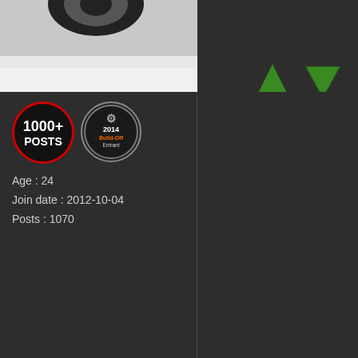[Figure (photo): Partial car photo in snowy/winter setting, top portion visible]
[Figure (illustration): Dark panel top right with up/down triangle arrows in dark green]
[Figure (illustration): User badges: 1000+ POSTS circular badge and 2014 Build-Off Entrant badge]
Age : 24
Join date : 2012-10-04
Posts : 1070
[Figure (illustration): Like button with thumbs up icon]
[Figure (illustration): Navigation arrows (up/down) in orange/gold color]
WellThatsSurprising
Frequent Poster
[Figure (illustration): Rank stars - green star icons, 6 stars]
[Figure (photo): Orange with sunglasses avatar image]
Subject: Re: Rustey Medal   Apr
I wouldn't trust that bungee c... get metal straps I would sugg...
WellThatsSurpris...
Quote :
[23:05:43] Doug Fackler : YOU
[23:06:39] WellThatssurprisin...